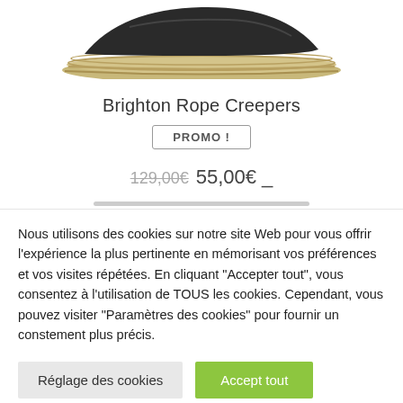[Figure (photo): Partial view of a Brighton Rope Creeper shoe with jute rope sole, cropped at top of page]
Brighton Rope Creepers
PROMO !
129,00€  55,00€ _
Nous utilisons des cookies sur notre site Web pour vous offrir l'expérience la plus pertinente en mémorisant vos préférences et vos visites répétées. En cliquant "Accepter tout", vous consentez à l'utilisation de TOUS les cookies. Cependant, vous pouvez visiter "Paramètres des cookies" pour fournir un constement plus précis.
Réglage des cookies
Accept tout